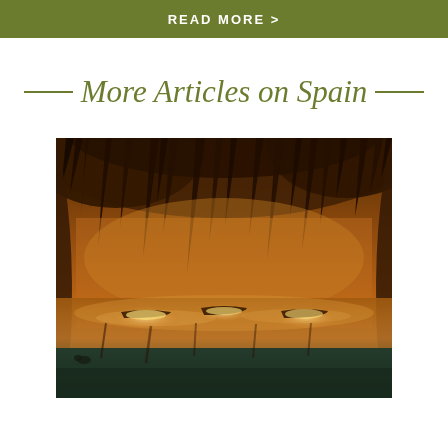READ MORE >
— More Articles on Spain —
[Figure (photo): Interior of a cave with stalactites hanging from above and illuminated boats floating on a still underground lake, with warm golden-orange rocky walls reflected in the water]